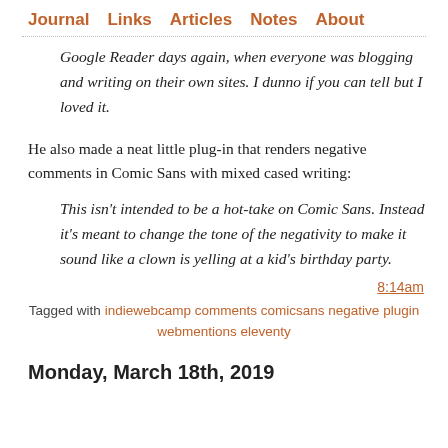Journal  Links  Articles  Notes  About
Google Reader days again, when everyone was blogging and writing on their own sites. I dunno if you can tell but I loved it.
He also made a neat little plug-in that renders negative comments in Comic Sans with mixed cased writing:
This isn't intended to be a hot-take on Comic Sans. Instead it's meant to change the tone of the negativity to make it sound like a clown is yelling at a kid's birthday party.
8:14am
Tagged with indiewebcamp comments comicsans negative plugin webmentions eleventy
Monday, March 18th, 2019